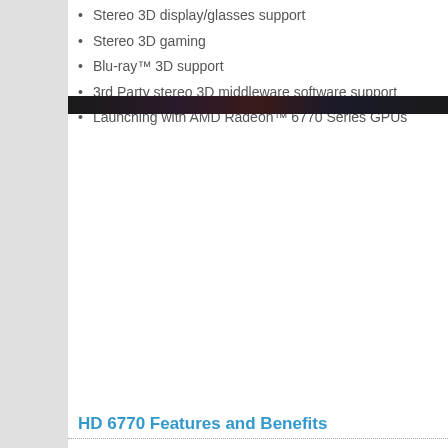Stereo 3D display/glasses support
Stereo 3D gaming
Blu-ray™ 3D support
3rd Party stereo 3D middleware software support
Launching with AMD Radeon™ 6770 Series GPUs
[Figure (photo): Dark banner image strip]
HD 6770 Features and Benefits